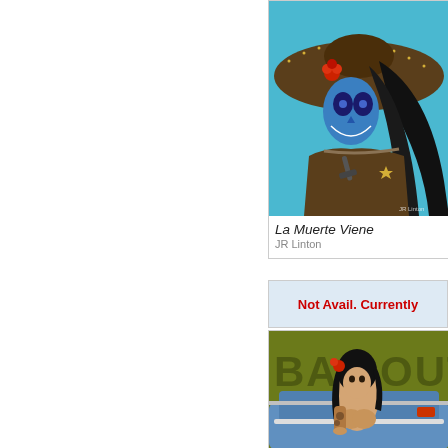[Figure (illustration): Painting of a Day of the Dead female figure with blue face paint, wearing a large ornate sombrero with star decorations, holding a pistol, wearing a cowboy outfit with a sheriff star badge. Title: La Muerte Viene by JR Linton.]
La Muerte Viene
JR Linton
Not Avail. Currently
[Figure (illustration): Painting of a tattooed pin-up woman with dark hair, red flower, leaning on a vintage blue car with a yellow-green background and partial text visible.]